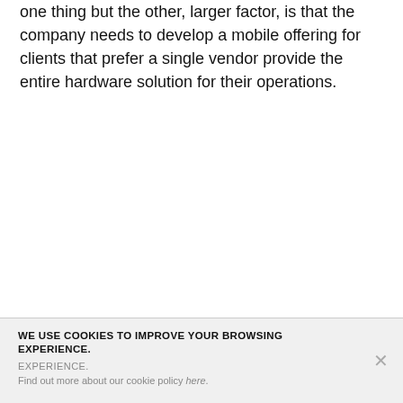one thing but the other, larger factor, is that the company needs to develop a mobile offering for clients that prefer a single vendor provide the entire hardware solution for their operations.
WE USE COOKIES TO IMPROVE YOUR BROWSING EXPERIENCE. Find out more about our cookie policy here.